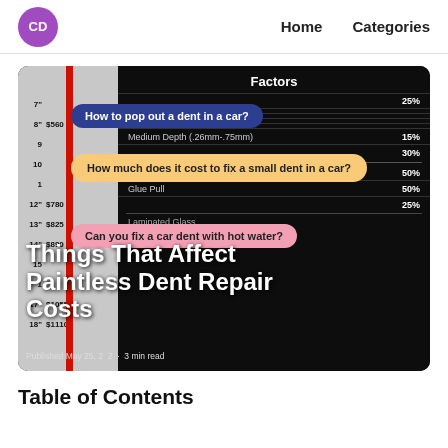CD  Home  Categories
[Figure (infographic): Infographic thumbnail showing a dent size/price chart on the left (grey column with red bar), factors affecting paintless dent repair costs on the right (dark background with percentages), overlaid with three pill callouts ('How to pop out a dent in a car?', 'How much does it cost to fix a small dent in a car?', 'Can you fix a car dent with hot water?'), and a large white title overlay 'Things That Affect Paintless Dent Repair Costs' with a published date.]
Table of Contents